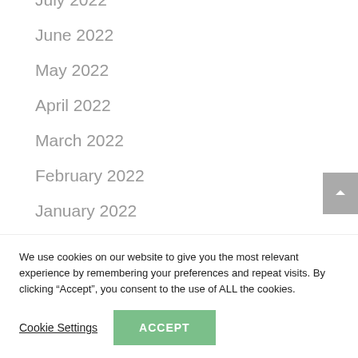July 2022
June 2022
May 2022
April 2022
March 2022
February 2022
January 2022
December 2021
November 2021
We use cookies on our website to give you the most relevant experience by remembering your preferences and repeat visits. By clicking “Accept”, you consent to the use of ALL the cookies.
Cookie Settings
ACCEPT